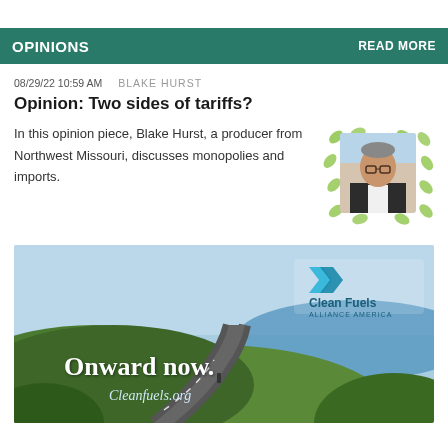OPINIONS    READ MORE
08/29/22 10:59 AM   BLAKE HURST
Opinion: Two sides of tariffs?
In this opinion piece, Blake Hurst, a producer from Northwest Missouri, discusses monopolies and imports.
[Figure (photo): Portrait photo of Blake Hurst with decorative green leaf pattern background]
[Figure (photo): Advertisement for Clean Fuels Alliance America showing a scenic coastal road with text 'Onward now. Cleanfuels.org']